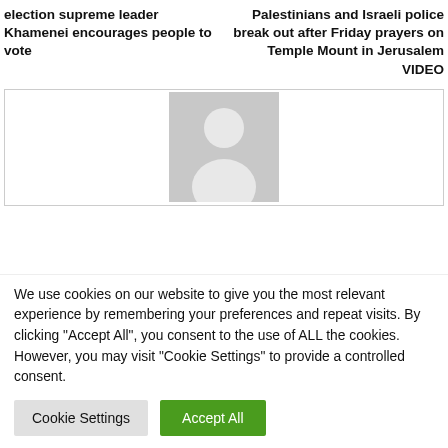election supreme leader Khamenei encourages people to vote
Palestinians and Israeli police break out after Friday prayers on Temple Mount in Jerusalem VIDEO
[Figure (photo): Default avatar placeholder image showing a grey silhouette of a person]
We use cookies on our website to give you the most relevant experience by remembering your preferences and repeat visits. By clicking "Accept All", you consent to the use of ALL the cookies. However, you may visit "Cookie Settings" to provide a controlled consent.
Cookie Settings
Accept All